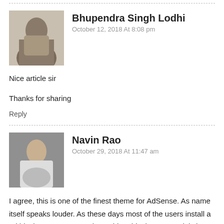Bhupendra Singh Lodhi
October 12, 2018 At 8:08 pm
Nice article sir
Thanks for sharing
Reply
Navin Rao
October 29, 2018 At 11:47 am
I agree, this is one of the finest theme for AdSense. As name itself speaks louder. As these days most of the users install a ad blockers, can can not be stable. This theme certainly has the technology install which would not let the ad blocker work.
Good one Asif